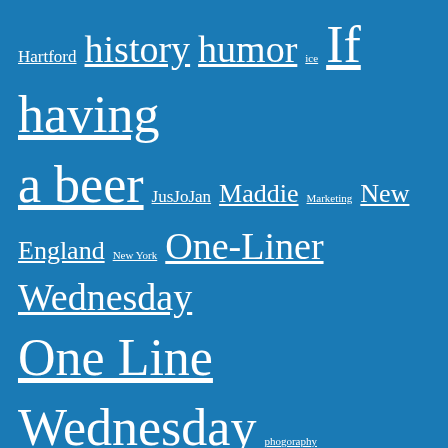[Figure (infographic): Tag cloud on blue background with various blog/website tags in different sizes. Tags include: Hartford, history, humor, ice, If having a beer, JusJoJan, Maddie, Marketing, New England, New York, One-Liner Wednesday, One Line Wednesday, phogoraphy, photography, Pirates, Pittsburgh, Skippy, snow, SoCS, spring, Star Trek, Steelers, Stream of Consciousness Saturday, sunrise, Technology, ThursdayDoors, Thursday Doors, Thursday Doors Recap, Train, travel, Twilight Zone, weather, winter, woodworking, wordPress]